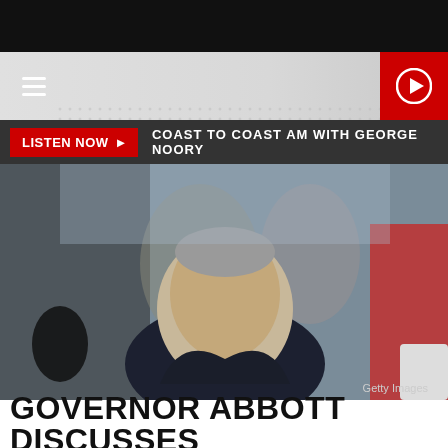[Figure (logo): KYYW 1470 News Talk radio station logo on dotted gray header band]
[Figure (other): Red play button circle on red background, top right of header]
LISTEN NOW ▶  COAST TO COAST AM WITH GEORGE NOORY
[Figure (photo): Governor Abbott looking upward, surrounded by people including men in suits and a man in a red shirt, with a microphone in the foreground. Getty Images credit.]
Getty Images
GOVERNOR ABBOTT DISCUSSES